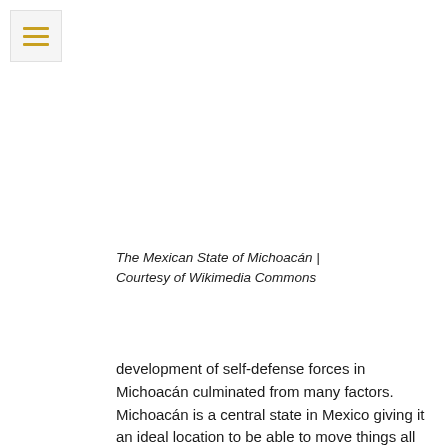[Figure (other): Menu/hamburger icon with three horizontal gold/yellow lines on a light grey background]
The Mexican State of Michoacán | Courtesy of Wikimedia Commons
development of self-defense forces in Michoacán culminated from many factors. Michoacán is a central state in Mexico giving it an ideal location to be able to move things all over the country quickly. It is located along the coast, providing the option to export drugs via sea. Its economy is largely based on agricultural and mineral resources. Michoacán is known for cultivating avocados and lemons and for the many precious minerals that are mined in the state.4 These characteristics, unfortunately, make it an ideal